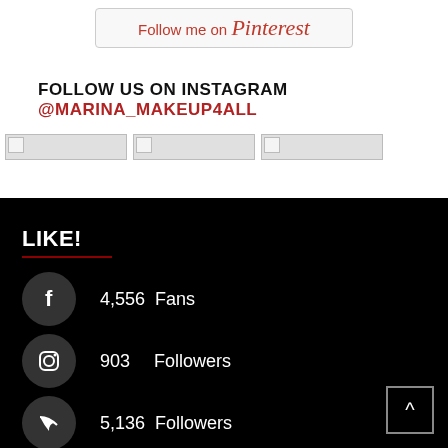[Figure (other): Pinterest follow button with text 'Follow me on Pinterest']
FOLLOW US ON INSTAGRAM @MARINA_MAKEUP4ALL
[Figure (photo): Three image placeholders in a row (Instagram photos, not loaded)]
LIKE!
4,556  Fans (Facebook)
903  Followers (Instagram)
5,136  Followers (RSS)